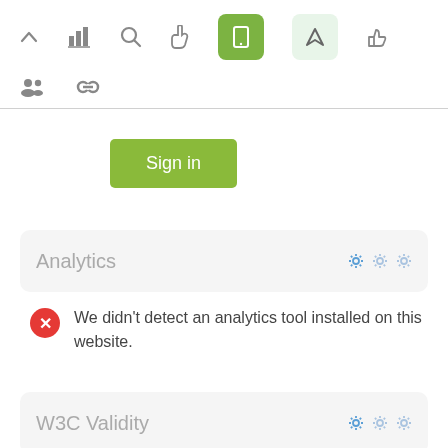[Figure (screenshot): Toolbar with icons: up arrow, bar chart, search, hand/pointer, green mobile phone button (active), light green navigation/send button, thumbs up]
[Figure (screenshot): Second toolbar row with group/people icon and chain-link/infinity icon]
[Figure (screenshot): Green Sign in button]
Analytics
We didn't detect an analytics tool installed on this website.
W3C Validity
Something went wrong!